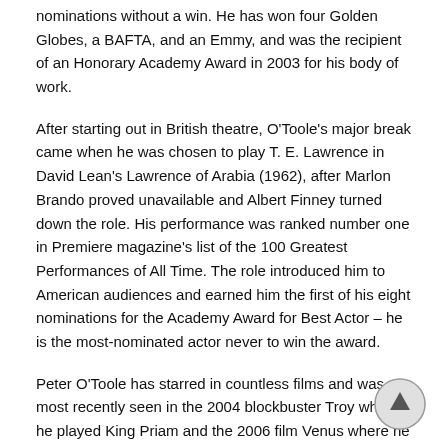nominations without a win. He has won four Golden Globes, a BAFTA, and an Emmy, and was the recipient of an Honorary Academy Award in 2003 for his body of work.
After starting out in British theatre, O'Toole's major break came when he was chosen to play T. E. Lawrence in David Lean's Lawrence of Arabia (1962), after Marlon Brando proved unavailable and Albert Finney turned down the role. His performance was ranked number one in Premiere magazine's list of the 100 Greatest Performances of All Time. The role introduced him to American audiences and earned him the first of his eight nominations for the Academy Award for Best Actor – he is the most-nominated actor never to win the award.
Peter O'Toole has starred in countless films and was most recently seen in the 2004 blockbuster Troy where he played King Priam and the 2006 film Venus where he portrayed Maurice. O'Toole's latest appearance on the small screen was in the second season of Showtime's hit drama series The Tudors, portraying Pope Paul III, who excommunicates King Henry VIII from the Catholic church. O'Toole has narrated the forthcoming horror comedy Eldorado, which was directed by Richard Driscoll.